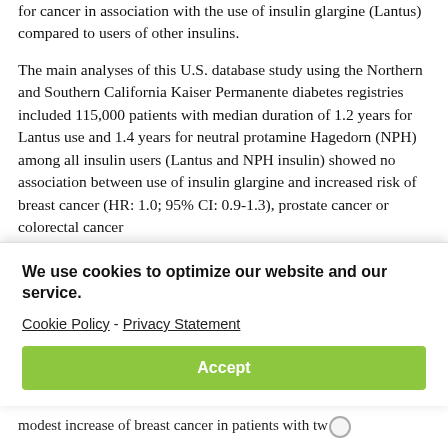for cancer in association with the use of insulin glargine (Lantus) compared to users of other insulins.
The main analyses of this U.S. database study using the Northern and Southern California Kaiser Permanente diabetes registries included 115,000 patients with median duration of 1.2 years for Lantus use and 1.4 years for neutral protamine Hagedorn (NPH) among all insulin users (Lantus and NPH insulin) showed no association between use of insulin glargine and increased risk of breast cancer (HR: 1.0; 95% CI: 0.9-1.3), prostate cancer or colorectal cancer (
We use cookies to optimize our website and our service.
Cookie Policy - Privacy Statement
Accept
modest increase of breast cancer in patients with tw...